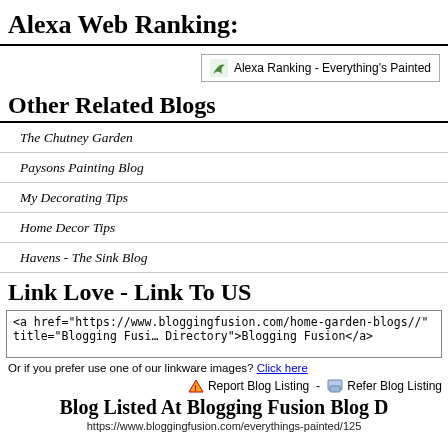Alexa Web Ranking:
[Figure (other): Alexa Ranking badge image for Everything's Painted blog]
Other Related Blogs
The Chutney Garden
Paysons Painting Blog
My Decorating Tips
Home Decor Tips
Havens - The Sink Blog
Link Love - Link To US
<a href="https://www.bloggingfusion.com/home-garden-blogs//" title="Blogging Fusion Directory">Blogging Fusion</a>
Or if you prefer use one of our linkware images? Click here
Report Blog Listing - Refer Blog Listing
Blog Listed At Blogging Fusion Blog D
https://www.bloggingfusion.com/everythings-painted/125